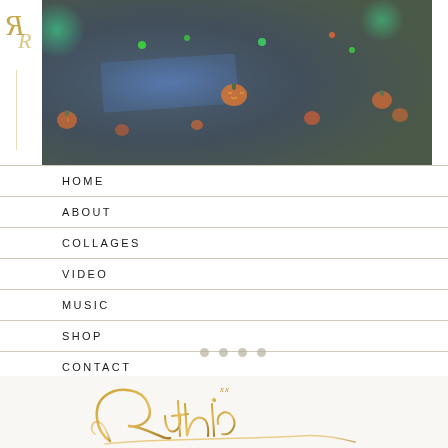[Figure (photo): A dark Halloween-themed image showing glowing jack-o-lanterns and decorations on a dark background with blue and green lighting effects, forming a hero/banner image at the top of a website.]
HOME
ABOUT
COLLAGES
VIDEO
MUSIC
SHOP
CONTACT
[Figure (illustration): A gold cursive signature reading 'xx Ruthie' with an elaborate decorative flourish/calligraphy style, displayed against a light cream/white background.]